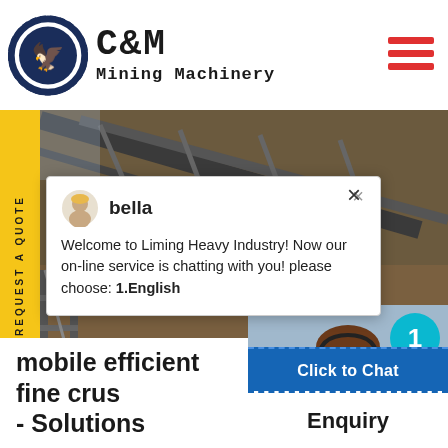[Figure (logo): C&M Mining Machinery logo with eagle/gear emblem in dark navy blue circle, and brand name C&M Mining Machinery in bold monospace font]
[Figure (photo): Mining conveyor belt infrastructure and industrial machinery at a mining site, brownish landscape]
bella
Welcome to Liming Heavy Industry! Now our on-line service is chatting with you! please choose: 1.English
[Figure (photo): Female customer service agent wearing headset, smiling, with a teal/cyan circular badge showing number 1]
Click to Chat
Enquiry
mobile efficient fine crus - Solutions